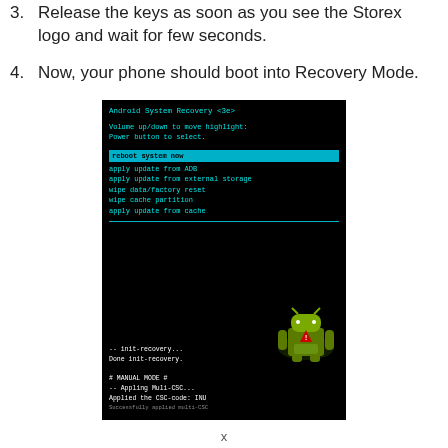3. Release the keys as soon as you see the Storex logo and wait for few seconds.
4. Now, your phone should boot into Recovery Mode.
[Figure (screenshot): Android System Recovery <3e> screen showing menu options: reboot system now (highlighted in cyan), apply update from ADB, apply update from external storage, wipe data/factory reset, wipe cache partition, apply update from cache. Below is a dark section with an Android robot image and text: -- init-recovery... Done init-recovery. # MANUAL MODE # -- Appling Muli-CSC... Applied the CSC-code: INU Successfully applied multi-CSC]
x